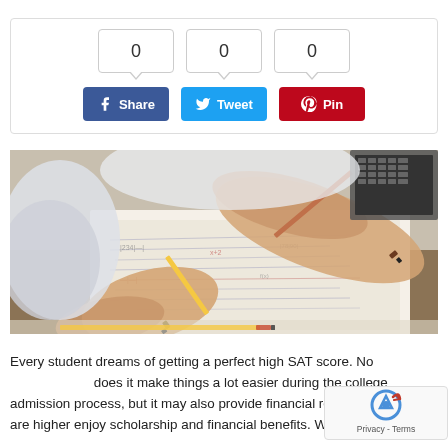[Figure (other): Social share widget with three count bubbles showing 0, 0, 0 and three buttons: Facebook Share (blue), Twitter Tweet (light blue), Pinterest Pin (red)]
[Figure (photo): Close-up photo of two people studying, holding pencils over handwritten notes/papers, with a laptop keyboard visible in the background]
Every student dreams of getting a perfect high SAT score. Not only does it make things a lot easier during the college admission process, but it may also provide financial rewards. SAT scores that are higher enjoy scholarship and financial benefits. With a perfect